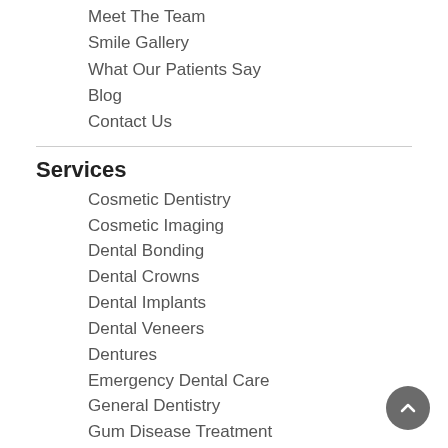Meet The Team
Smile Gallery
What Our Patients Say
Blog
Contact Us
Services
Cosmetic Dentistry
Cosmetic Imaging
Dental Bonding
Dental Crowns
Dental Implants
Dental Veneers
Dentures
Emergency Dental Care
General Dentistry
Gum Disease Treatment
Holistic Dentistry
Invisalign Clear Braces
Invisalign Teen
Mercury Free Dentistry
Oral Cancer Screening